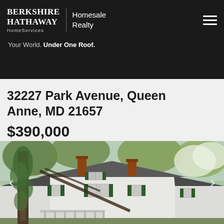BERKSHIRE HATHAWAY HomeServices | Homesale Realty
Your World. Under One Roof.
32227 Park Avenue, Queen Anne, MD 21657
$390,000
[Figure (photo): Exterior photo of a white colonial-style house with green shutters, two brick chimneys, ivy-covered trees in the foreground, spring foliage, front porch visible at bottom]